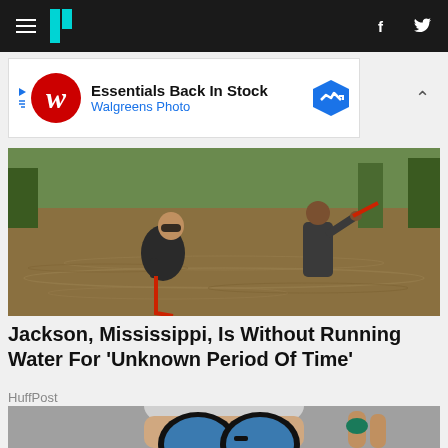HuffPost navigation bar with hamburger menu, logo, Facebook and Twitter icons
[Figure (screenshot): Walgreens Photo advertisement banner: Essentials Back In Stock - Walgreens Photo]
[Figure (photo): Two men wading through deep brown flood water, one in foreground crouching holding a red rope/strap, one in background standing holding a red strap, surrounded by flooded landscape with trees]
Jackson, Mississippi, Is Without Running Water For 'Unknown Period Of Time'
HuffPost
[Figure (photo): Partially visible image of an older woman with silver/grey hair wearing large round black sunglasses with blue reflective lenses, rings on her fingers]